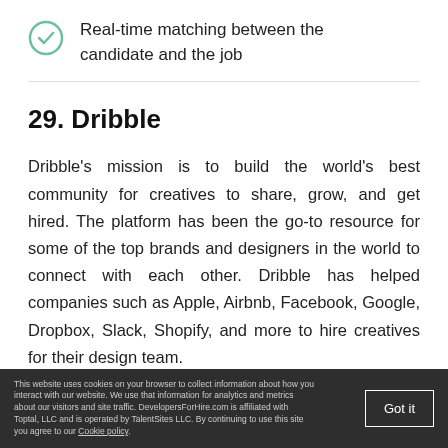Real-time matching between the candidate and the job
29. Dribble
Dribble's mission is to build the world's best community for creatives to share, grow, and get hired. The platform has been the go-to resource for some of the top brands and designers in the world to connect with each other. Dribble has helped companies such as Apple, Airbnb, Facebook, Google, Dropbox, Slack, Shopify, and more to hire creatives for their design team.
This website uses cookies on your browser to collect information about how you interact with our website. We use that information for analytics and metrics about our visitors and site traffic. DevelopersForHire.com is affiliated with Toptal, LLC and is operated by TalentSites LLC. By continuing to use this site you agree to our Cookie policy.